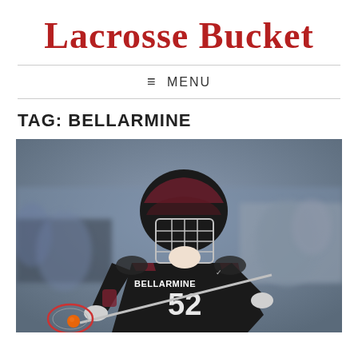Lacrosse Bucket
≡ MENU
TAG: BELLARMINE
[Figure (photo): A lacrosse player wearing a dark Bellarmine jersey number 52 with maroon accents and a matching helmet with face guard, running with a lacrosse stick that has an orange ball in the pocket. The background is blurred showing an indoor arena setting with other players and spectators.]